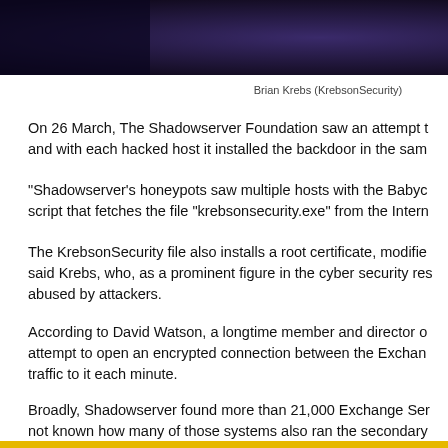[Figure (photo): Dark colored photo showing a person (Brian Krebs) at top of page, cropped]
Brian Krebs (KrebsonSecurity)
On 26 March, The Shadowserver Foundation saw an attempt to and with each hacked host it installed the backdoor in the sam
"Shadowserver's honeypots saw multiple hosts with the Babyc script that fetches the file “krebsonsecurity.exe” from the Intern
The KrebsonSecurity file also installs a root certificate, modifie said Krebs, who, as a prominent figure in the cyber security res abused by attackers.
According to David Watson, a longtime member and director o attempt to open an encrypted connection between the Exchan traffic to it each minute.
Broadly, Shadowserver found more than 21,000 Exchange Ser not known how many of those systems also ran the secondary